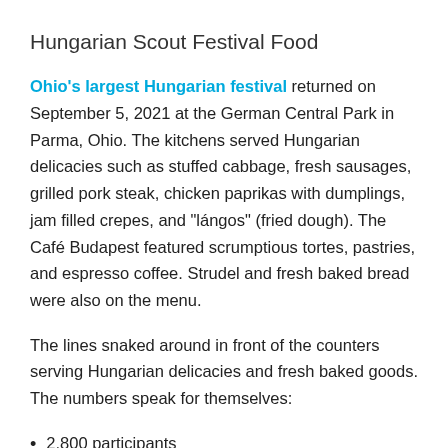Hungarian Scout Festival Food
Ohio's largest Hungarian festival returned on September 5, 2021 at the German Central Park in Parma, Ohio. The kitchens served Hungarian delicacies such as stuffed cabbage, fresh sausages, grilled pork steak, chicken paprikas with dumplings, jam filled crepes, and “lángos” (fried dough). The Café Budapest featured scrumptious tortes, pastries, and espresso coffee. Strudel and fresh baked bread were also on the menu.
The lines snaked around in front of the counters serving Hungarian delicacies and fresh baked goods. The numbers speak for themselves:
2,800 participants